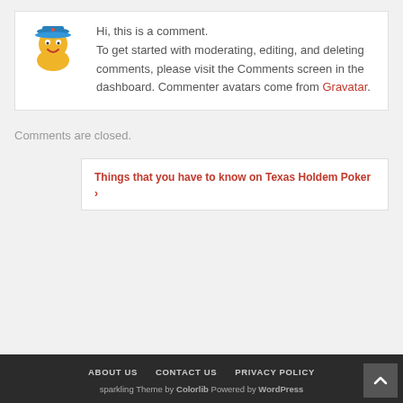Hi, this is a comment. To get started with moderating, editing, and deleting comments, please visit the Comments screen in the dashboard. Commenter avatars come from Gravatar.
Comments are closed.
Things that you have to know on Texas Holdem Poker ›
ABOUT US   CONTACT US   PRIVACY POLICY
sparkling Theme by Colorlib Powered by WordPress